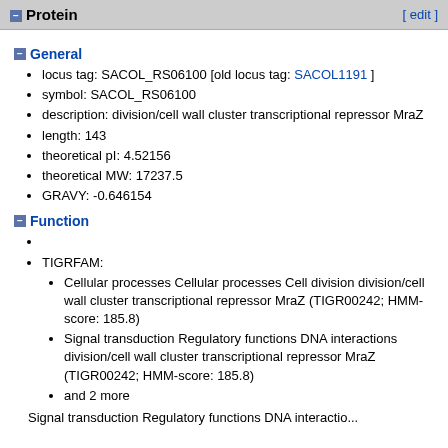Protein [ edit ]
General
locus tag: SACOL_RS06100 [old locus tag: SACOL1191 ]
symbol: SACOL_RS06100
description: division/cell wall cluster transcriptional repressor MraZ
length: 143
theoretical pI: 4.52156
theoretical MW: 17237.5
GRAVY: -0.646154
Function
TIGRFAM:
Cellular processes Cellular processes Cell division division/cell wall cluster transcriptional repressor MraZ (TIGR00242; HMM-score: 185.8)
Signal transduction Regulatory functions DNA interactions division/cell wall cluster transcriptional repressor MraZ (TIGR00242; HMM-score: 185.8)
and 2 more
Signal transduction Regulatory functions DNA interactio...